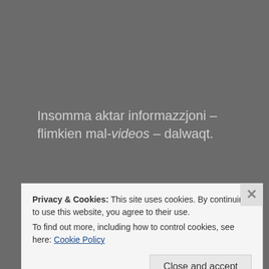Insomma aktar informazzjoni – flimkien mal-videos – dalwaqt.
Kontra l-kurrent
Privacy & Cookies: This site uses cookies. By continuing to use this website, you agree to their use.
To find out more, including how to control cookies, see here: Cookie Policy